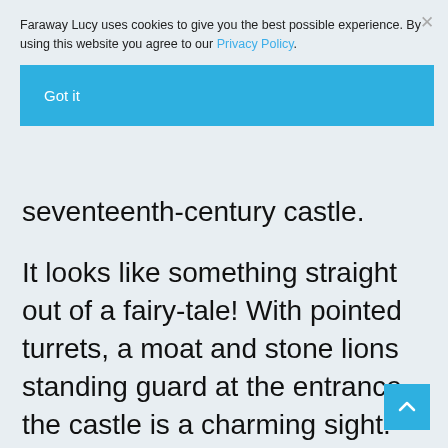Faraway Lucy uses cookies to give you the best possible experience. By using this website you agree to our Privacy Policy.
Got it
seventeenth-century castle.
It looks like something straight out of a fairy-tale! With pointed turrets, a moat and stone lions standing guard at the entrance, the castle is a charming sight.